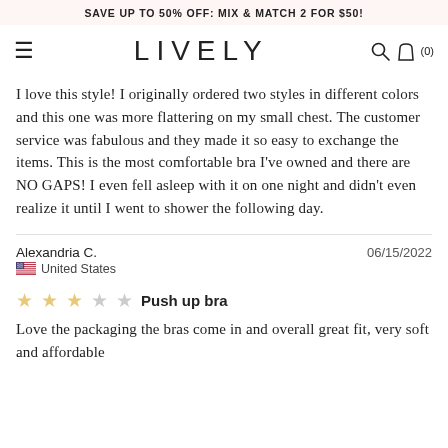SAVE UP TO 50% OFF: MIX & MATCH 2 FOR $50!
[Figure (screenshot): LIVELY brand navigation bar with hamburger menu, logo, search and bag icons]
I love this style! I originally ordered two styles in different colors and this one was more flattering on my small chest. The customer service was fabulous and they made it so easy to exchange the items. This is the most comfortable bra I've owned and there are NO GAPS! I even fell asleep with it on one night and didn't even realize it until I went to shower the following day.
Alexandria C.
06/15/2022
United States
Push up bra
Love the packaging the bras come in and overall great fit, very soft and affordable